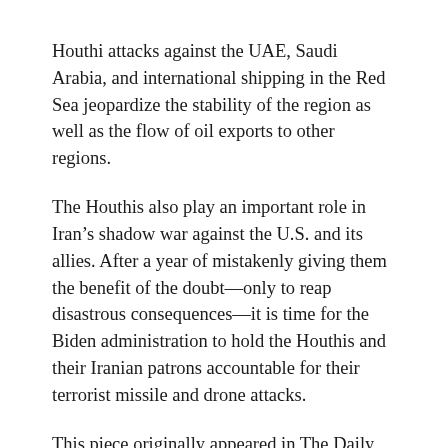Houthi attacks against the UAE, Saudi Arabia, and international shipping in the Red Sea jeopardize the stability of the region as well as the flow of oil exports to other regions.
The Houthis also play an important role in Iran’s shadow war against the U.S. and its allies. After a year of mistakenly giving them the benefit of the doubt—only to reap disastrous consequences—it is time for the Biden administration to hold the Houthis and their Iranian patrons accountable for their terrorist missile and drone attacks.
This piece originally appeared in The Daily Signal